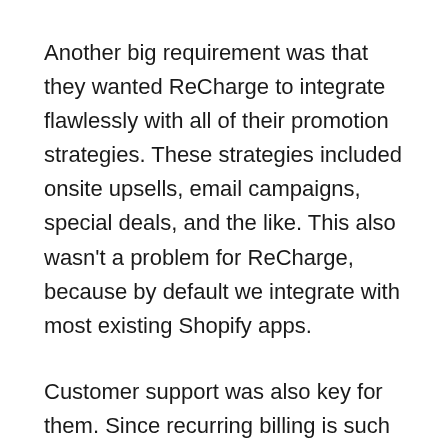Another big requirement was that they wanted ReCharge to integrate flawlessly with all of their promotion strategies. These strategies included onsite upsells, email campaigns, special deals, and the like. This also wasn't a problem for ReCharge, because by default we integrate with most existing Shopify apps.
Customer support was also key for them. Since recurring billing is such a big part of their business, they needed experts who could help work with them through all of the details. We addressed everything from the product page down to the shipping codes.